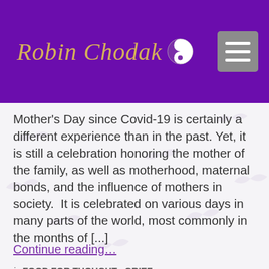Robin Chodak [yin-yang logo] [hamburger menu]
Mother's Day since Covid-19 is certainly a different experience than in the past. Yet, it is still a celebration honoring the mother of the family, as well as motherhood, maternal bonds, and the influence of mothers in society.  It is celebrated on various days in many parts of the world, most commonly in the months of [...]
Continue reading...
in FOOD FOR THOUGHT , GRIEF , HEALTHY LIVING , LOSS ,